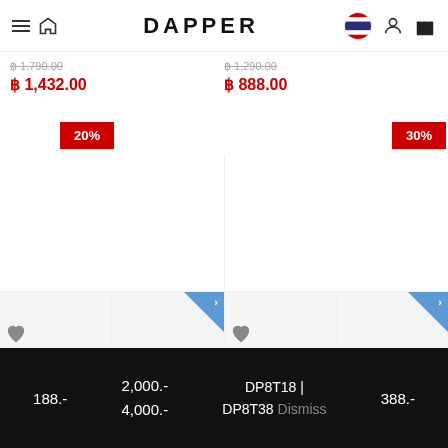DAPPER — navigation header with hamburger, home, flag, user, bag icons
฿ 1,790.00 (strikethrough) ฿ 1,432.00 (sale price)
฿ 1,290.00 (strikethrough) ฿ 888.00 (sale price)
20%
30%
188.- | 2,000.- 4,000.- | DP8T18 | DP8T38 Dismiss | 388.-